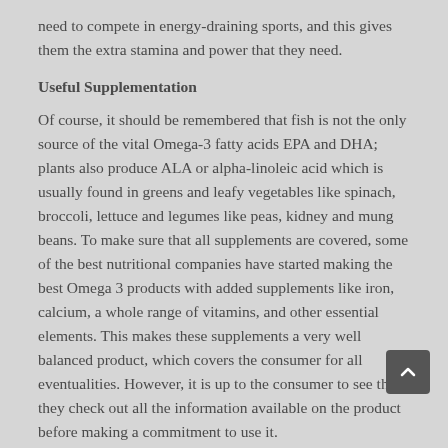need to compete in energy-draining sports, and this gives them the extra stamina and power that they need.
Useful Supplementation
Of course, it should be remembered that fish is not the only source of the vital Omega-3 fatty acids EPA and DHA; plants also produce ALA or alpha-linoleic acid which is usually found in greens and leafy vegetables like spinach, broccoli, lettuce and legumes like peas, kidney and mung beans. To make sure that all supplements are covered, some of the best nutritional companies have started making the best Omega 3 products with added supplements like iron, calcium, a whole range of vitamins, and other essential elements. This makes these supplements a very well balanced product, which covers the consumer for all eventualities. However, it is up to the consumer to see that they check out all the information available on the product before making a commitment to use it.
The author of this article is sharing the information about